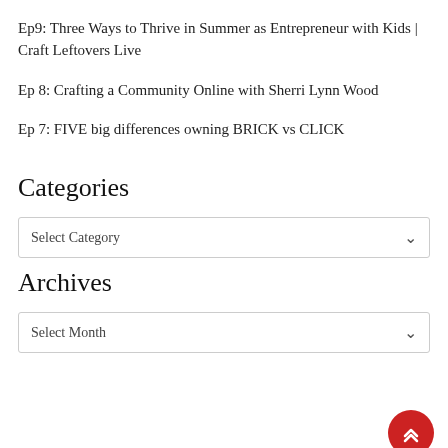Ep9: Three Ways to Thrive in Summer as Entrepreneur with Kids | Craft Leftovers Live
Ep 8: Crafting a Community Online with Sherri Lynn Wood
Ep 7: FIVE big differences owning BRICK vs CLICK
Categories
Select Category
Archives
Select Month